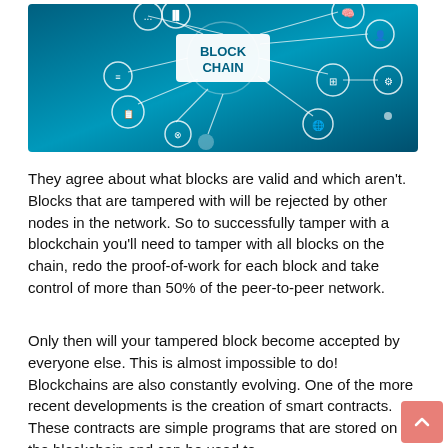[Figure (infographic): Blockchain network infographic on a teal/blue gradient background. Central node labeled 'BLOCK CHAIN' in white bold text, surrounded by circular icon nodes connected by white lines representing a peer-to-peer network. Icons include a brain, chart, document, globe, gear, chat bubble, and others.]
They agree about what blocks are valid and which aren't. Blocks that are tampered with will be rejected by other nodes in the network. So to successfully tamper with a blockchain you'll need to tamper with all blocks on the chain, redo the proof-of-work for each block and take control of more than 50% of the peer-to-peer network.
Only then will your tampered block become accepted by everyone else. This is almost impossible to do! Blockchains are also constantly evolving. One of the more recent developments is the creation of smart contracts. These contracts are simple programs that are stored on the blockchain and can be used to